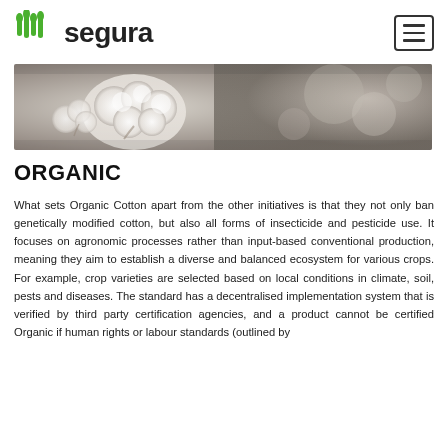segura
[Figure (photo): Close-up photo of white cotton bolls in soft focus, natural outdoor setting]
ORGANIC
What sets Organic Cotton apart from the other initiatives is that they not only ban genetically modified cotton, but also all forms of insecticide and pesticide use. It focuses on agronomic processes rather than input-based conventional production, meaning they aim to establish a diverse and balanced ecosystem for various crops. For example, crop varieties are selected based on local conditions in climate, soil, pests and diseases. The standard has a decentralised implementation system that is verified by third party certification agencies, and a product cannot be certified Organic if human rights or labour standards (outlined by